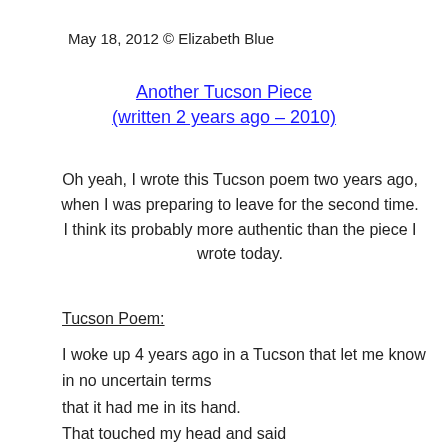May 18, 2012 © Elizabeth Blue
Another Tucson Piece
(written 2 years ago – 2010)
Oh yeah, I wrote this Tucson poem two years ago, when I was preparing to leave for the second time. I think its probably more authentic than the piece I wrote today.
Tucson Poem:
I woke up 4 years ago in a Tucson that let me know
in no uncertain terms
that it had me in its hand.
That touched my head and said